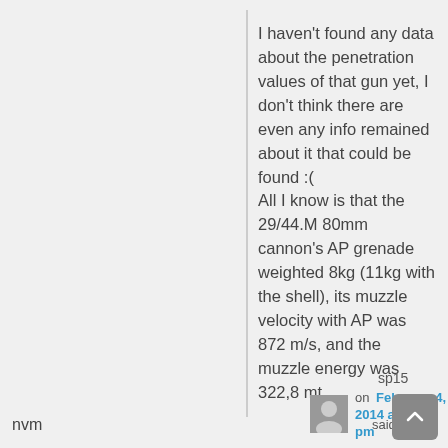I haven't found any data about the penetration values of that gun yet, I don't think there are even any info remained about it that could be found :(
All I know is that the 29/44.M 80mm cannon's AP grenade weighted 8kg (11kg with the shell), its muzzle velocity with AP was 872 m/s, and the muzzle energy was 322,8 mt.
sp15
on February 4, 2014 at 6:00 pm
said:
nvm